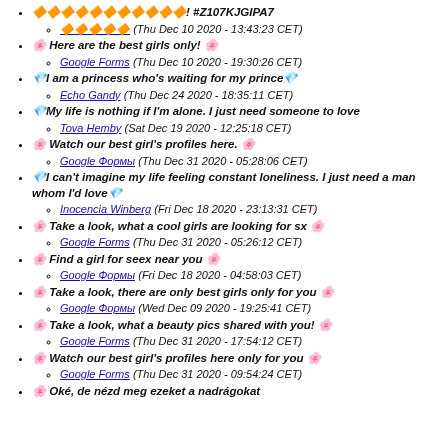🔶🔶🔶🔶🔶🔶🔶🔶🔶🔶🔶! #Z107KJGIPA7
🔶🔶🔶🔶🔶 (Thu Dec 10 2020 - 13:43:23 CET)
🌸 Here are the best girls only! 🌸
Google Forms (Thu Dec 10 2020 - 19:30:26 CET)
💎I am a princess who's waiting for my prince💎
Echo Gandy (Thu Dec 24 2020 - 18:35:11 CET)
💎My life is nothing if I'm alone. I just need someone to love
Tova Hemby (Sat Dec 19 2020 - 12:25:18 CET)
🌸 Watch our best girl's profiles here. 🌸
Google Формы (Thu Dec 31 2020 - 05:28:06 CET)
💎I can't imagine my life feeling constant loneliness. I just need a man whom I'd love💎
Inocencia Winberg (Fri Dec 18 2020 - 23:13:31 CET)
🌸 Take a look, what a cool girls are looking for sx 🌸
Google Forms (Thu Dec 31 2020 - 05:26:12 CET)
🌸 Find a girl for seex near you 🌸
Google Формы (Fri Dec 18 2020 - 04:58:03 CET)
🌸 Take a look, there are only best girls only for you 🌸
Google Формы (Wed Dec 09 2020 - 19:25:41 CET)
🌸 Take a look, what a beauty pics shared with you! 🌸
Google Forms (Thu Dec 31 2020 - 17:54:12 CET)
🌸 Watch our best girl's profiles here only for you 🌸
Google Forms (Thu Dec 31 2020 - 09:54:24 CET)
🌸 Oké, de nézd meg ezeket a nadrágokat